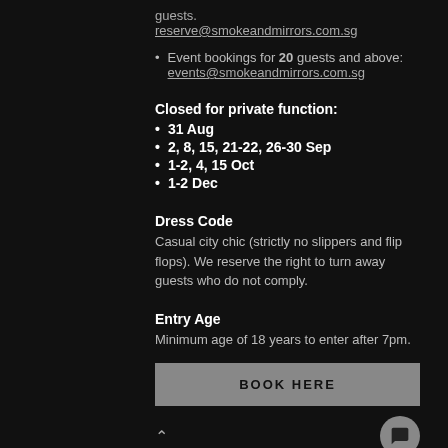guests.
reserve@smokeandmirrors.com.sg
Event bookings for 20 guests and above:
events@smokeandmirrors.com.sg
Closed for private function:
31 Aug
2, 8, 15, 21-22, 26-30 Sep
1-2, 4, 15 Oct
1-2 Dec
Dress Code
Casual city chic (strictly no slippers and flip flops). We reserve the right to turn away guests who do not comply.
Entry Age
Minimum age of 18 years to enter after 7pm.
BOOK HERE
Booking Info